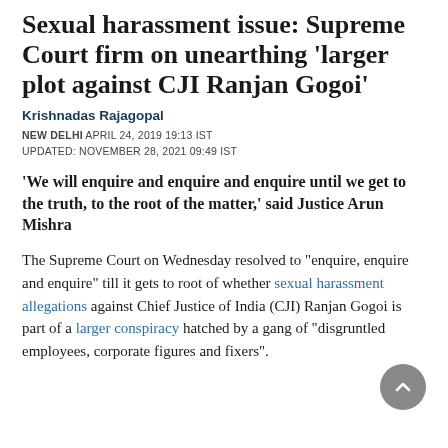Sexual harassment issue: Supreme Court firm on unearthing 'larger plot against CJI Ranjan Gogoi'
Krishnadas Rajagopal
NEW DELHI APRIL 24, 2019 19:13 IST
UPDATED: NOVEMBER 28, 2021 09:49 IST
'We will enquire and enquire and enquire until we get to the truth, to the root of the matter,' said Justice Arun Mishra
The Supreme Court on Wednesday resolved to "enquire, enquire and enquire" till it gets to root of whether sexual harassment allegations against Chief Justice of India (CJI) Ranjan Gogoi is part of a larger conspiracy hatched by a gang of "disgruntled employees, corporate figures and fixers".